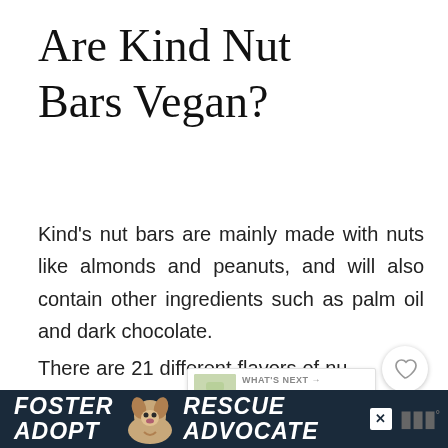Are Kind Nut Bars Vegan?
Kind's nut bars are mainly made with nuts like almonds and peanuts, and will also contain other ingredients such as palm oil and dark chocolate.
There are 21 different flavors of nut bars you can see in the table below:
[Figure (screenshot): UI overlay: heart (favourite) button and share button on right side of article]
[Figure (screenshot): What's Next widget showing a stacked jars image and text 'Are One Protein Bars...']
[Figure (infographic): Advertisement banner with dark background: 'FOSTER ADOPT' on left, dog image in center, 'RESCUE ADVOCATE' on right, close button and logo on far right]